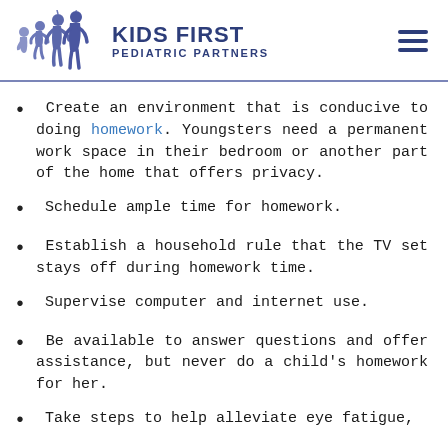[Figure (logo): Kids First Pediatric Partners logo with silhouette figures of children and adults in blue, alongside bold blue text reading KIDS FIRST PEDIATRIC PARTNERS]
Create an environment that is conducive to doing homework. Youngsters need a permanent work space in their bedroom or another part of the home that offers privacy.
Schedule ample time for homework.
Establish a household rule that the TV set stays off during homework time.
Supervise computer and internet use.
Be available to answer questions and offer assistance, but never do a child's homework for her.
Take steps to help alleviate eye fatigue,